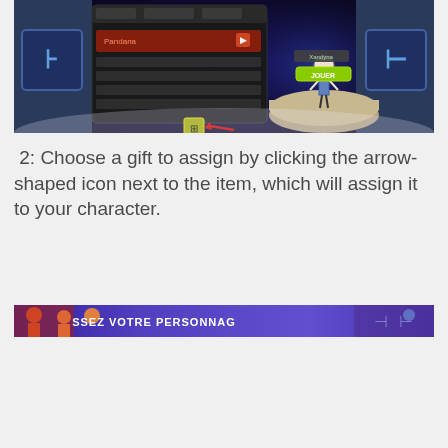[Figure (screenshot): Game screenshot showing a character selection/inventory UI panel on the left (dark panel with a highlighted item and an arrow-shaped icon), a 3D game character standing on a platform in the center-right, and blue rune-like symbols on either side against a space-themed background. A red arrow points to a small yellow icon at the bottom of the panel.]
2: Choose a gift to assign by clicking the arrow-shaped icon next to the item, which will assign it to your character.
[Figure (screenshot): A wide banner/strip screenshot from the game showing characters and text 'SSEZ VOTRE PERSONNAG' against a purple/blue background with decorative elements.]